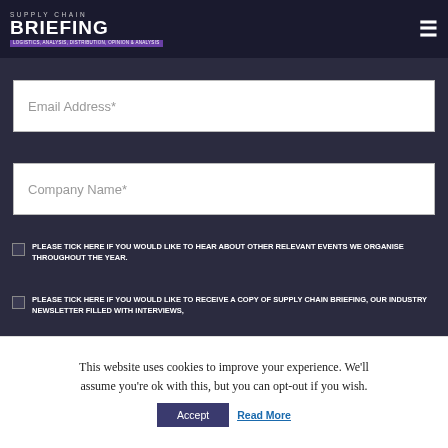SUPPLY CHAIN BRIEFING
Email Address*
Company Name*
PLEASE TICK HERE IF YOU WOULD LIKE TO HEAR ABOUT OTHER RELEVANT EVENTS WE ORGANISE THROUGHOUT THE YEAR.
PLEASE TICK HERE IF YOU WOULD LIKE TO RECEIVE A COPY OF SUPPLY CHAIN BRIEFING, OUR INDUSTRY NEWSLETTER FILLED WITH INTERVIEWS,
This website uses cookies to improve your experience. We'll assume you're ok with this, but you can opt-out if you wish.
Accept   Read More